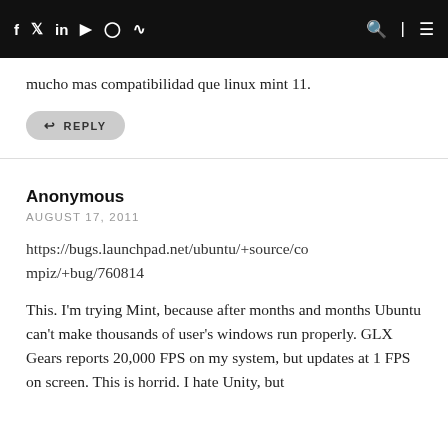f  Twitter  in  YouTube  Instagram  RSS  [search]  [menu]
mucho mas compatibilidad que linux mint 11.
REPLY
Anonymous
AUGUST 17, 2011
https://bugs.launchpad.net/ubuntu/+source/compiz/+bug/760814
This. I'm trying Mint, because after months and months Ubuntu can't make thousands of user's windows run properly. GLX Gears reports 20,000 FPS on my system, but updates at 1 FPS on screen. This is horrid. I hate Unity, but